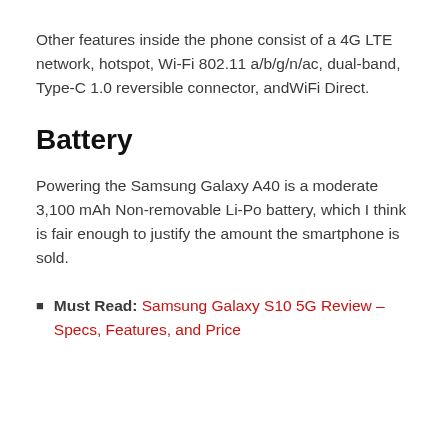Other features inside the phone consist of a 4G LTE network, hotspot, Wi-Fi 802.11 a/b/g/n/ac, dual-band, Type-C 1.0 reversible connector, andWiFi Direct.
Battery
Powering the Samsung Galaxy A40 is a moderate 3,100 mAh Non-removable Li-Po battery, which I think is fair enough to justify the amount the smartphone is sold.
Must Read: Samsung Galaxy S10 5G Review – Specs, Features, and Price